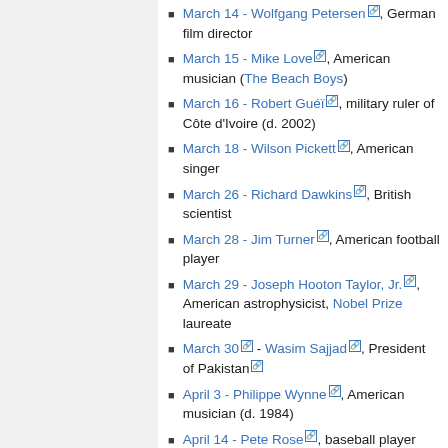March 14 - Wolfgang Petersen, German film director
March 15 - Mike Love, American musician (The Beach Boys)
March 16 - Robert Guéï, military ruler of Côte d'Ivoire (d. 2002)
March 18 - Wilson Pickett, American singer
March 26 - Richard Dawkins, British scientist
March 28 - Jim Turner, American football player
March 29 - Joseph Hooton Taylor, Jr., American astrophysicist, Nobel Prize laureate
March 30 - Wasim Sajjad, President of Pakistan
April 3 - Philippe Wynne, American musician (d. 1984)
April 14 - Pete Rose, baseball player
April 23 - Paavo Lipponen, Prime Minister of Finland
April 23 - Ed Stewart, English disc jockey